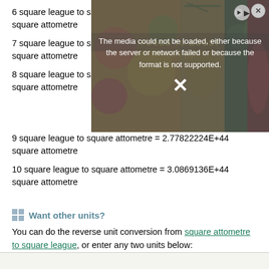6 square league to square attometre = 1.85214816E+44 square attometre
7 square league to square attometre = 2.16083952E+44 square attometre
8 square league to square attometre = 2.46953088E+44 square attometre
9 square league to square attometre = 2.77822224E+44 square attometre
10 square league to square attometre = 3.0869136E+44 square attometre
[Figure (screenshot): Video overlay showing 'FOODS TO BOOST' title with media error message: 'The media could not be loaded, either because the server or network failed or because the format is not supported.' with an X mark and a play button circle.]
Want other units?
You can do the reverse unit conversion from square attometre to square league, or enter any two units below: